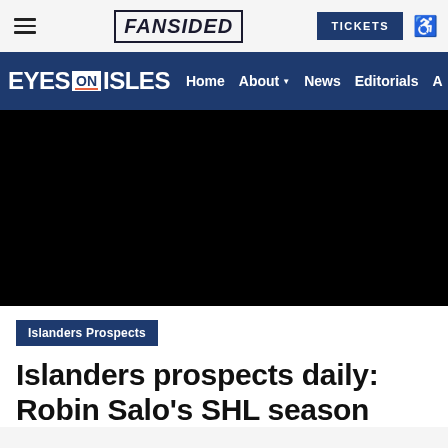FANSIDED
[Figure (logo): Eyes on Isles navigation bar with Home, About, News, Editorials links]
[Figure (photo): Black hero image area (no visible content)]
Islanders Prospects
Islanders prospects daily: Robin Salo's SHL season